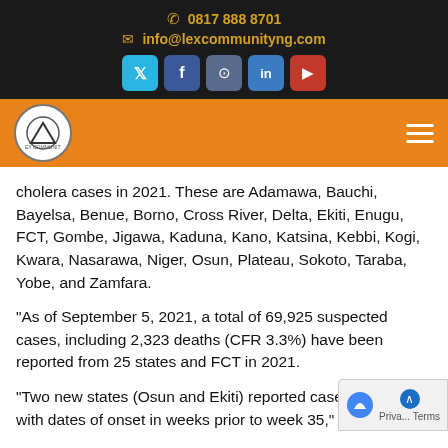0817 888 8701 | info@lexcommunityng.com
[Figure (logo): LexCommunity logo in a circle on orange navigation bar with hamburger menu]
cholera cases in 2021. These are Adamawa, Bauchi, Bayelsa, Benue, Borno, Cross River, Delta, Ekiti, Enugu, FCT, Gombe, Jigawa, Kaduna, Kano, Katsina, Kebbi, Kogi, Kwara, Nasarawa, Niger, Osun, Plateau, Sokoto, Taraba, Yobe, and Zamfara.
“As of September 5, 2021, a total of 69,925 suspected cases, including 2,323 deaths (CFR 3.3%) have been reported from 25 states and FCT in 2021.
“Two new states (Osun and Ekiti) reported cases, th… with dates of onset in weeks prior to week 35,” the report